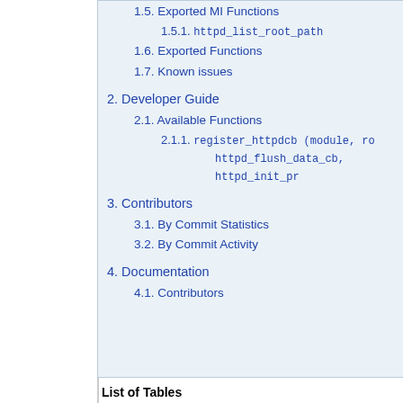1.5. Exported MI Functions
1.5.1. httpd_list_root_path
1.6. Exported Functions
1.7. Known issues
2. Developer Guide
2.1. Available Functions
2.1.1. register_httpdcb (module, ro... httpd_flush_data_cb, httpd_init_pr...
3. Contributors
3.1. By Commit Statistics
3.2. By Commit Activity
4. Documentation
4.1. Contributors
List of Tables
3.1. Top contributors by DevScore(1), authored comm...